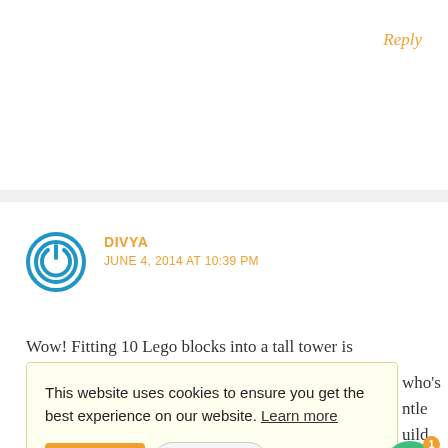Reply
DIVYA
JUNE 4, 2014 AT 10:39 PM
Wow! Fitting 10 Lego blocks into a tall tower is
[Figure (other): Cookie consent banner with 'Got it!' button and 'Need help?' button, with a green chat bubble widget in the corner.]
blocks together. Could you please tell me how you